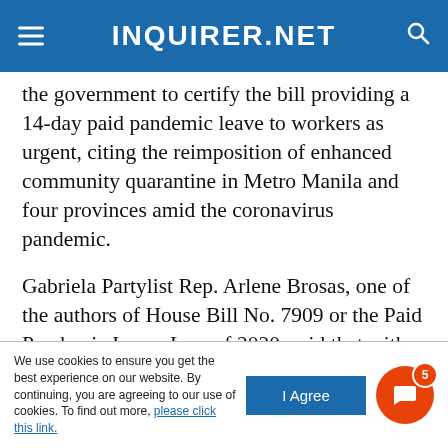INQUIRER.NET
the government to certify the bill providing a 14-day paid pandemic leave to workers as urgent, citing the reimposition of enhanced community quarantine in Metro Manila and four provinces amid the coronavirus pandemic.
Gabriela Partylist Rep. Arlene Brosas, one of the authors of House Bill No. 7909 or the Paid Pandemic Leave Law of 2020, said that with the imposition of a stricter enhanced community quarantine, accompanied by restrictions on public
We use cookies to ensure you get the best experience on our website. By continuing, you are agreeing to our use of cookies. To find out more, please click this link.